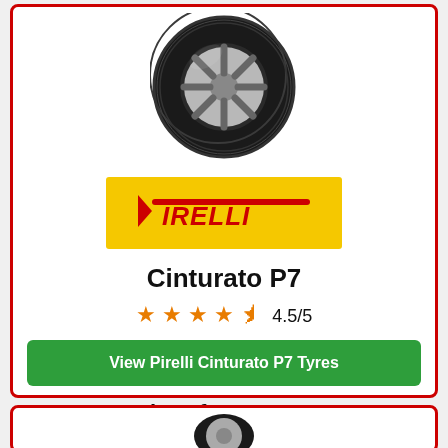[Figure (photo): Pirelli Cinturato P7 tyre product image shown from an angle]
[Figure (logo): Pirelli logo on yellow background with red italic PIRELLI text and P symbol]
Cinturato P7
4.5/5 star rating
View Pirelli Cinturato P7 Tyres
Prices from £99.00
[Figure (photo): Second tyre product image partially visible at bottom of page]